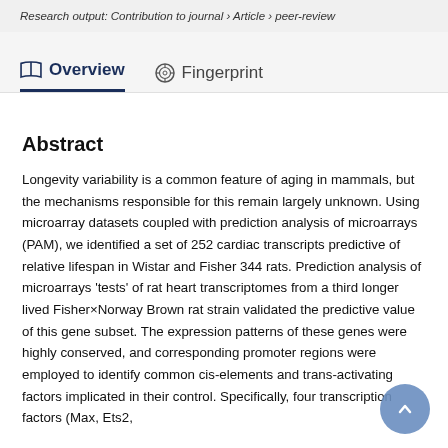Research output: Contribution to journal › Article › peer-review
Overview	Fingerprint
Abstract
Longevity variability is a common feature of aging in mammals, but the mechanisms responsible for this remain largely unknown. Using microarray datasets coupled with prediction analysis of microarrays (PAM), we identified a set of 252 cardiac transcripts predictive of relative lifespan in Wistar and Fisher 344 rats. Prediction analysis of microarrays 'tests' of rat heart transcriptomes from a third longer lived Fisher×Norway Brown rat strain validated the predictive value of this gene subset. The expression patterns of these genes were highly conserved, and corresponding promoter regions were employed to identify common cis-elements and trans-activating factors implicated in their control. Specifically, four transcription factors (Max, Ets2,